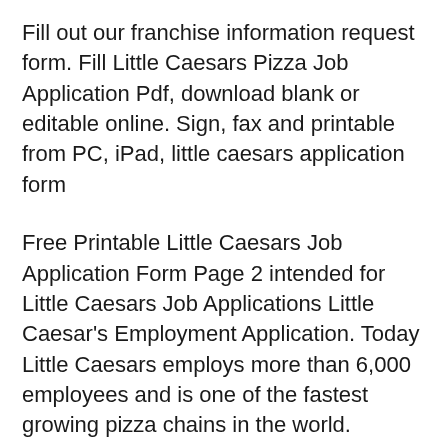Fill out our franchise information request form. Fill Little Caesars Pizza Job Application Pdf, download blank or editable online. Sign, fax and printable from PC, iPad, little caesars application form
Free Printable Little Caesars Job Application Form Page 2 intended for Little Caesars Job Applications Little Caesar's Employment Application. Today Little Caesars employs more than 6,000 employees and is one of the fastest growing pizza chains in the world.
This Little caesars applications application print job form latest for